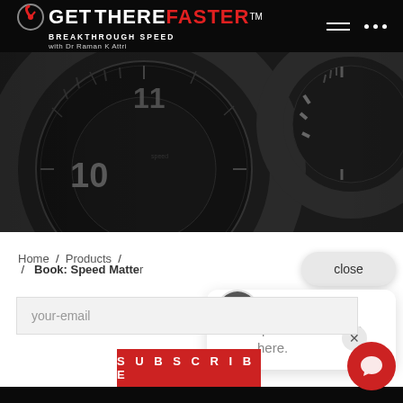GET THERE FASTER TM BREAKTHROUGH SPEED with Dr Raman K Attri
[Figure (photo): Close-up black and white photo of a watch/clock face showing numbers 10 and 11, with mechanical watch details visible]
close
Home / Products / / Book: Speed Matte...
Hi there, have a question? Text us here.
your-email
Subscribe